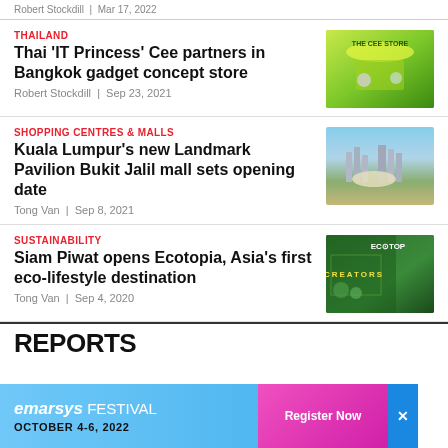Robert Stockdill | Mar 17, 2022
THAILAND
Thai ‘IT Princess’ Cee partners in Bangkok gadget concept store
Robert Stockdill | Sep 23, 2021
[Figure (photo): Green-themed gadget concept store with bright lime green decor]
SHOPPING CENTRES & MALLS
Kuala Lumpur’s new Landmark Pavilion Bukit Jalil mall sets opening date
Tong Van | Sep 8, 2021
[Figure (photo): Aerial view of Kuala Lumpur skyline with Pavilion Bukit Jalil mall construction]
SUSTAINABILITY
Siam Piwat opens Ecotopia, Asia’s first eco-lifestyle destination
Tong Van | Sep 4, 2020
[Figure (photo): Ecotopia eco-lifestyle destination with green plants and CREATORS signage]
REPORTS
[Figure (infographic): Emarsys Festival advertisement banner: OCTOBER 4-6, 2022, Register Now]